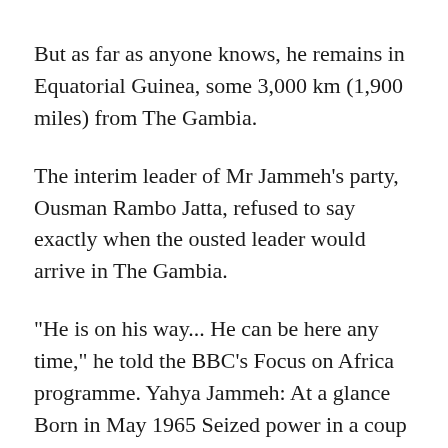But as far as anyone knows, he remains in Equatorial Guinea, some 3,000 km (1,900 miles) from The Gambia.
The interim leader of Mr Jammeh's party, Ousman Rambo Jatta, refused to say exactly when the ousted leader would arrive in The Gambia.
"He is on his way... He can be here any time," he told the BBC's Focus on Africa programme. Yahya Jammeh: At a glance Born in May 1965 Seized power in a coup in 1994 In 2013, he vowed to stay in power for "a billion years" if God wills He also ordered the execution of criminals and political opponents on death row Claimed in 2007 he could cure Aids and infertility with herbal concoctions Warned in 2008 that gay people would be beheaded Prohibited his opponents killing media. Bans. He b...